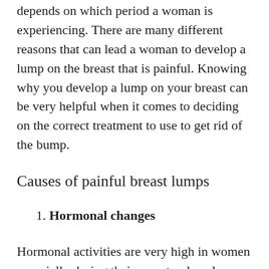depends on which period a woman is experiencing. There are many different reasons that can lead a woman to develop a lump on the breast that is painful. Knowing why you develop a lump on your breast can be very helpful when it comes to deciding on the correct treatment to use to get rid of the bump.
Causes of painful breast lumps
1. Hormonal changes
Hormonal activities are very high in women especially during their menstrual cycle, when pregnant and while undergoing perimenopause period. During these periods the level of estrogen may go up thereby causing overproduction of oil in the body some of which